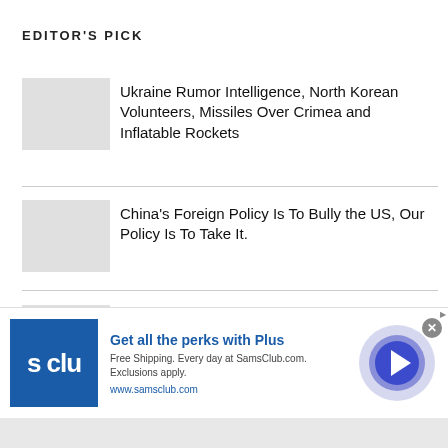EDITOR'S PICK
Ukraine Rumor Intelligence, North Korean Volunteers, Missiles Over Crimea and Inflatable Rockets
China's Foreign Policy Is To Bully the US, Our Policy Is To Take It.
Read this Translation of an Interview with General Kryvonos of Ukraine's Special Forces
[Figure (other): Sam's Club advertisement banner: Get all the perks with Plus. Free Shipping. Every day at SamsClub.com. Exclusions apply. www.samsclub.com]